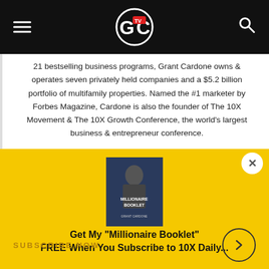GC TV
21 bestselling business programs, Grant Cardone owns & operates seven privately held companies and a $5.2 billion portfolio of multifamily properties. Named the #1 marketer by Forbes Magazine, Cardone is also the founder of The 10X Movement & The 10X Growth Conference, the world’s largest business & entrepreneur conference.
[Figure (photo): Book cover of Millionaire Booklet by Grant Cardone]
Get My "Millionaire Booklet" FREE When You Subscribe to 10X Daily...
Subscribe Now